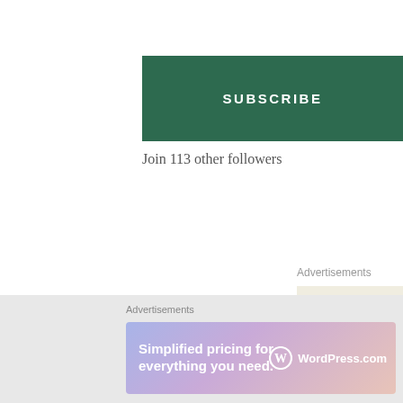[Figure (other): Green SUBSCRIBE button]
Join 113 other followers
Advertisements
[Figure (illustration): WordPress advertisement banner with WordPress logo and text 'Professionally designed sites in less than']
[Figure (other): Close/X button circle icon]
Advertisements
[Figure (illustration): WordPress.com bottom banner ad with gradient background: 'Simplified pricing for everything you need.' with WordPress.com logo]